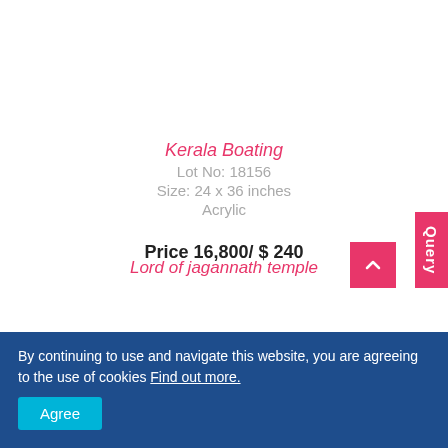Kerala Boating
Lot No: 18156
Size: 24 x 36 inches
Acrylic
Price 16,800/ $ 240
Lord of jagannath temple
By continuing to use and navigate this website, you are agreeing to the use of cookies Find out more.
Agree